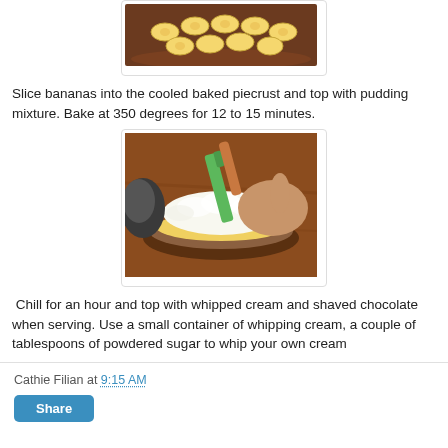[Figure (photo): Photo showing sliced bananas arranged in a baked pie crust, viewed from above.]
Slice bananas into the cooled baked piecrust and top with pudding mixture. Bake at 350 degrees for 12 to 15 minutes.
[Figure (photo): Photo showing hands spreading whipped cream topping over a banana pudding pie using a green spatula.]
Chill for an hour and top with whipped cream and shaved chocolate when serving. Use a small container of whipping cream, a couple of tablespoons of powdered sugar to whip your own cream
Cathie Filian at 9:15 AM
Share